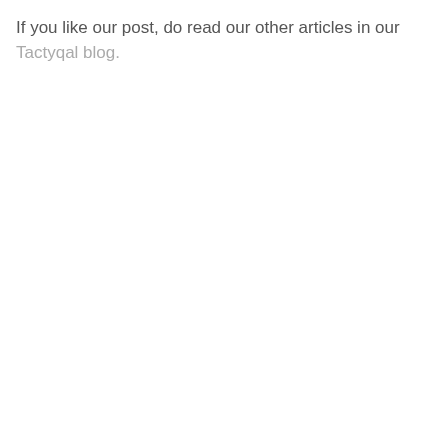If you like our post, do read our other articles in our Tactyqal blog.